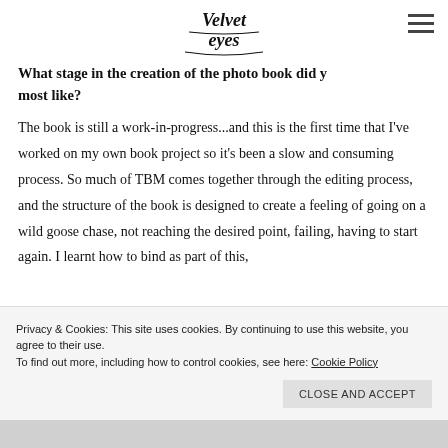[Figure (logo): Velvet Eyes script logo with decorative swash lettering]
What stage in the creation of the photo book did you most like?
The book is still a work-in-progress...and this is the first time that I've worked on my own book project so it's been a slow and consuming process. So much of TBM comes together through the editing process, and the structure of the book is designed to create a feeling of going on a wild goose chase, not reaching the desired point, failing, having to start again. I learnt how to bind as part of this,
Privacy & Cookies: This site uses cookies. By continuing to use this website, you agree to their use.
To find out more, including how to control cookies, see here: Cookie Policy
CLOSE AND ACCEPT